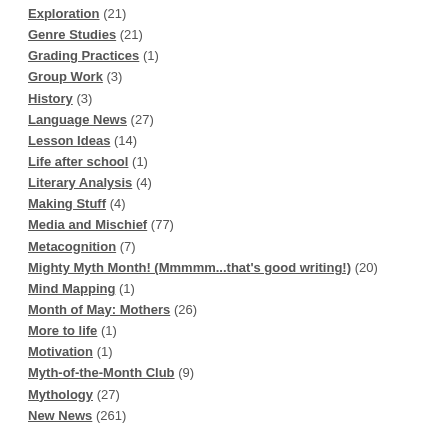Exploration (21)
Genre Studies (21)
Grading Practices (1)
Group Work (3)
History (3)
Language News (27)
Lesson Ideas (14)
Life after school (1)
Literary Analysis (4)
Making Stuff (4)
Media and Mischief (77)
Metacognition (7)
Mighty Myth Month! (Mmmmm...that's good writing!) (20)
Mind Mapping (1)
Month of May: Mothers (26)
More to life (1)
Motivation (1)
Myth-of-the-Month Club (9)
Mythology (27)
New News (261)